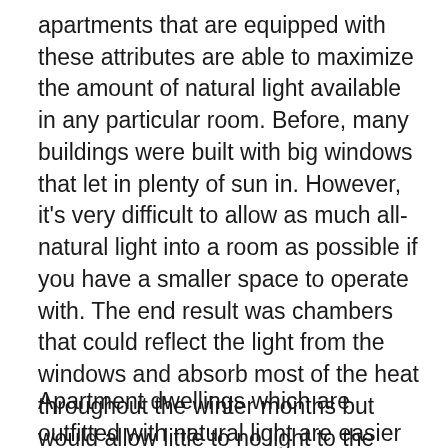apartments that are equipped with these attributes are able to maximize the amount of natural light available in any particular room. Before, many buildings were built with big windows that let in plenty of sun in. However, it's very difficult to allow as much all-natural light into a room as possible if you have a smaller space to operate with. The end result was chambers that could reflect the light from the windows and absorb most of the heat throughout the winter months but would allow little to no light to the room during the summertime. These types of rooms would also make it very hard to utilize the heat in each area.
Apartment dwellings which are outfitted with natural light are easier to handle when it